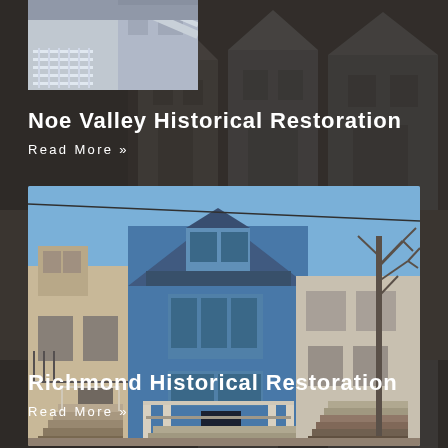[Figure (photo): Small photo of stairs and railing on a building, top-left area]
Noe Valley Historical Restoration
Read More »
[Figure (photo): Photo of row houses on a street, featuring a blue Victorian-style house in the center with bay windows and front porch stairs]
Richmond Historical Restoration
Read More »